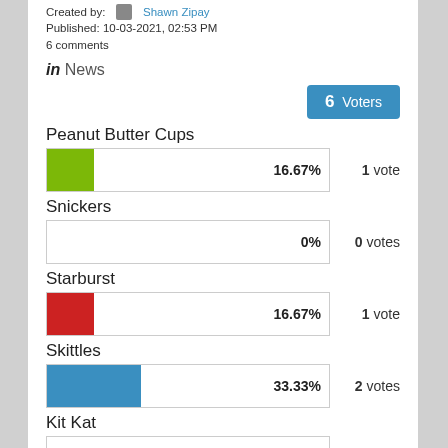Created by: Shawn Zipay
Published: 10-03-2021, 02:53 PM
6 comments
in News
6 Voters
Peanut Butter Cups
[Figure (bar-chart): Peanut Butter Cups]
1 vote
Snickers
[Figure (bar-chart): Snickers]
0 votes
Starburst
[Figure (bar-chart): Starburst]
1 vote
Skittles
[Figure (bar-chart): Skittles]
2 votes
Kit Kat
[Figure (bar-chart): Kit Kat]
0 votes
Butterfinger
[Figure (bar-chart): Butterfinger]
0 votes